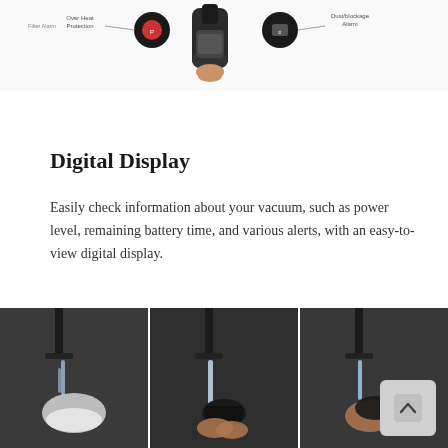[Figure (illustration): Vacuum cleaner device diagram with labeled parts including power button and dust/blockage indicators, shown from above on a white background.]
Digital Display
Easily check information about your vacuum, such as power level, remaining battery time, and various alerts, with an easy-to-view digital display.
[Figure (photo): Three side-by-side panels showing a faucet with running water and hands washing a black filter component.]